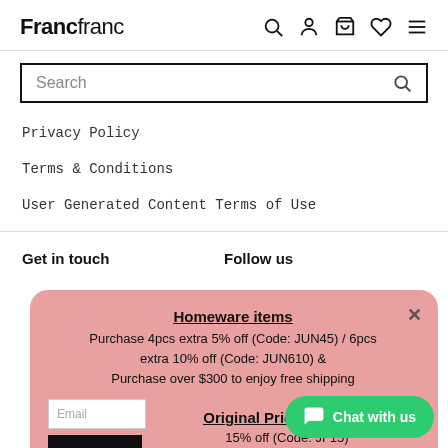Francfranc [navigation icons: search, account, cart, wishlist, menu]
Search
Privacy Policy
Terms & Conditions
User Generated Content Terms of Use
Get in touch
Follow us
[Figure (screenshot): Promotional popup with pink/salmon background. Title: Homeware items (bold, underlined). Body: Purchase 4pcs extra 5% off (Code: JUN45) / 6pcs extra 10% off (Code: JUN610) & Purchase over $300 to enjoy free shipping. Title 2: Original Price Furniture (bold, underlined). Body 2: 15% off (Code: JF15). Close X button top right. Email input and black submit button on left side. Signup disclaimer text at bottom.]
By signing up, you agree to receive email marketing
Chat with us